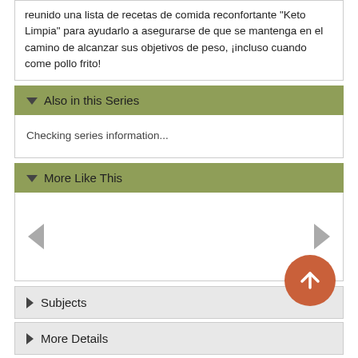reunido una lista de recetas de comida reconfortante "Keto Limpia" para ayudarlo a asegurarse de que se mantenga en el camino de alcanzar sus objetivos de peso, ¡incluso cuando come pollo frito!
Also in this Series
Checking series information...
More Like This
[Figure (other): Carousel navigation with left and right triangle arrows]
Subjects
More Details
Borrower Reviews
Published Reviews
Reviews from GoodReads